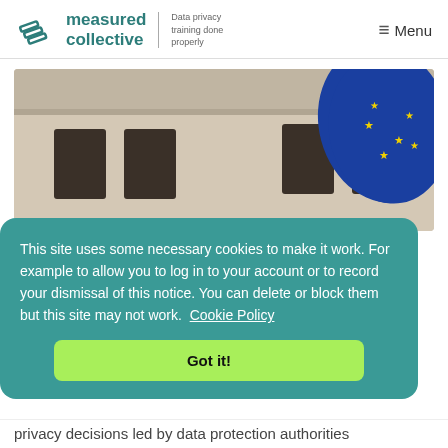[Figure (logo): Measured Collective logo with tagline 'Data privacy training done properly']
Menu
[Figure (photo): Photo of a European Union flag waving in front of a stone building facade]
This site uses some necessary cookies to make it work. For example to allow you to log in to your account or to record your dismissal of this notice. You can delete or block them but this site may not work.  Cookie Policy
Got it!
privacy decisions led by data protection authorities